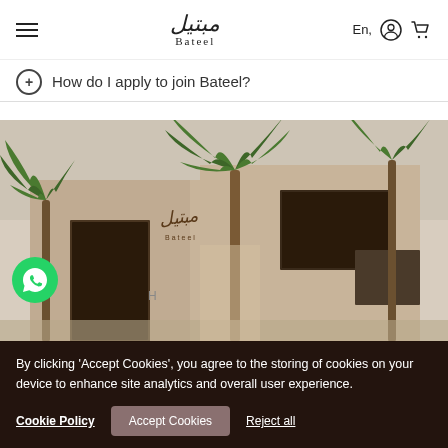Bateel — En, (account) (cart)
+ How do I apply to join Bateel?
[Figure (photo): Exterior photo of a Bateel store building with warm sandy beige walls, dark-framed glass doors and windows, the Bateel logo in Arabic and English on the facade, and palm trees in front.]
By clicking 'Accept Cookies', you agree to the storing of cookies on your device to enhance site analytics and overall user experience.
Cookie Policy   Accept Cookies   Reject all